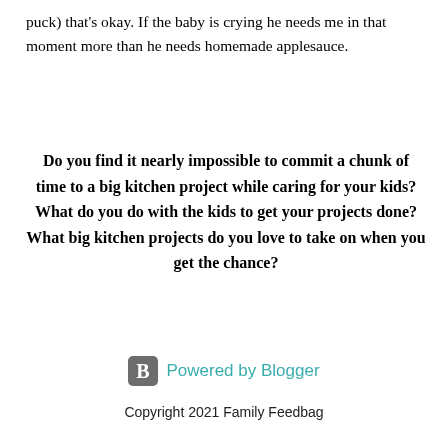puck) that's okay. If the baby is crying he needs me in that moment more than he needs homemade applesauce.
Do you find it nearly impossible to commit a chunk of time to a big kitchen project while caring for your kids? What do you do with the kids to get your projects done? What big kitchen projects do you love to take on when you get the chance?
Powered by Blogger
Copyright 2021 Family Feedbag